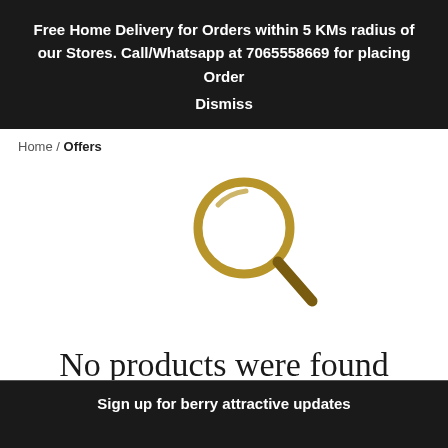Free Home Delivery for Orders within 5 KMs radius of our Stores. Call/Whatsapp at 7065558669 for placing Order
Dismiss
Home / Offers
[Figure (illustration): Large golden/tan magnifying glass icon centered on white background]
No products were found
‹ RETURN TO SHOP
Sign up for berry attractive updates